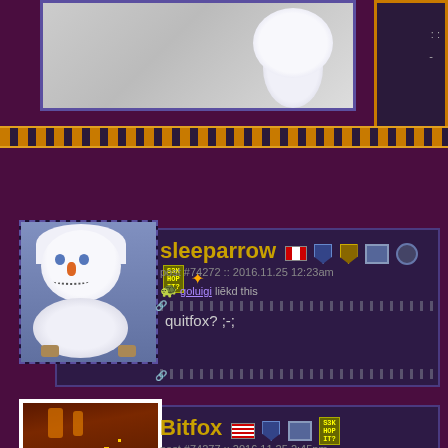[Figure (screenshot): Top of page showing partial avatar and decorative orange border at bottom]
[Figure (screenshot): Forum post by sleeparrow with snowman avatar. Post #74272, 2016.11.25 12:23am. goluigi liekd this. Post text: quitfox? ;-;]
sleeparrow
post #74272 :: 2016.11.25 12:23am
goluigi liekd this
quitfox? ;-;
[Figure (screenshot): Forum post by Bitfox with pixel art avatar. Post #74277, 2016.11.25 2:45pm. goluigi and sleeparrow liekd this. Post text: No : - )]
Bitfox
post #74277 :: 2016.11.25 2:45pm
goluigi and sleeparrow liekd this
No : - )